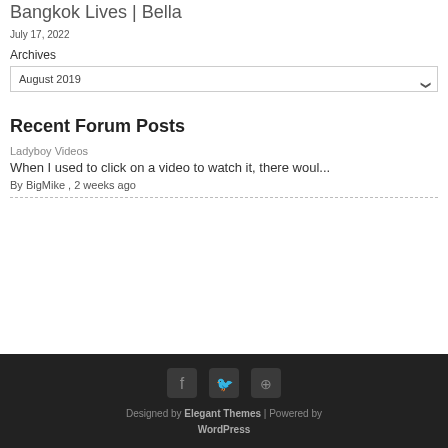Bangkok Lives | Bella
July 17, 2022
Archives
August 2019
Recent Forum Posts
Ladyboy Videos
When I used to click on a video to watch it, there woul...
By BigMike , 2 weeks ago
Designed by Elegant Themes | Powered by WordPress